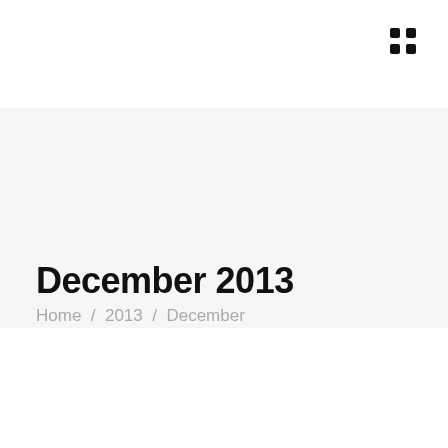December 2013
Home / 2013 / December
DECEMBER 28, 2013 / VERITIES
You Inspire Others to Action